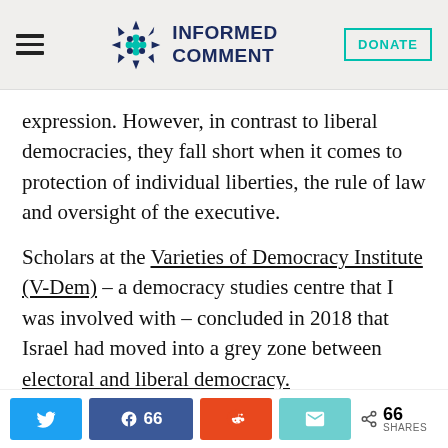INFORMED COMMENT
expression. However, in contrast to liberal democracies, they fall short when it comes to protection of individual liberties, the rule of law and oversight of the executive.
Scholars at the Varieties of Democracy Institute (V-Dem) – a democracy studies centre that I was involved with – concluded in 2018 that Israel had moved into a grey zone between electoral and liberal democracy.
Share buttons: Twitter, Facebook 66, Reddit, Email | 66 SHARES